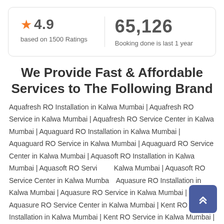★4.9 based on 1500 Ratings | 65,126 Booking done is last 1 year
We Provide Fast & Affordable Services to The Following Brand
Aquafresh RO Installation in Kalwa Mumbai | Aquafresh RO Service in Kalwa Mumbai | Aquafresh RO Service Center in Kalwa Mumbai | Aquaguard RO Installation in Kalwa Mumbai | Aquaguard RO Service in Kalwa Mumbai | Aquaguard RO Service Center in Kalwa Mumbai | Aquasoft RO Installation in Kalwa Mumbai | Aquasoft RO Service in Kalwa Mumbai | Aquasoft RO Service Center in Kalwa Mumbai | Aquasure RO Installation in Kalwa Mumbai | Aquasure RO Service in Kalwa Mumbai | Aquasure RO Service Center in Kalwa Mumbai | Kent RO Installation in Kalwa Mumbai | Kent RO Service in Kalwa Mumbai |